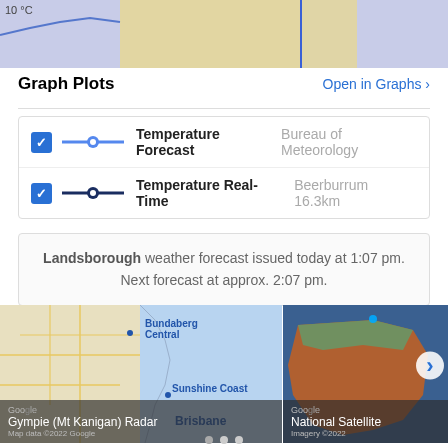[Figure (other): Top portion of a weather temperature chart showing a graph with light purple background and yellow highlighted columns with a blue vertical line]
Graph Plots
Open in Graphs ›
Temperature Forecast Bureau of Meteorology
Temperature Real-Time Beerburrum 16.3km
Landsborough weather forecast issued today at 1:07 pm. Next forecast at approx. 2:07 pm.
[Figure (map): Google map showing Queensland coastline including Bundaberg Central, Sunshine Coast, and Brisbane. Caption: Gympie (Mt Kanigan) Radar. Map data ©2022 Google]
[Figure (map): Google satellite map showing Australia from above. Caption: National Satellite. Imagery ©2022]